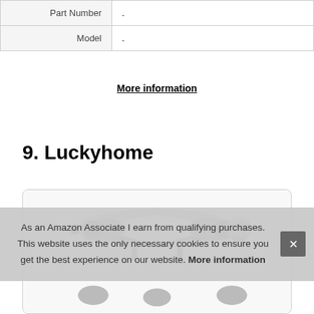| Part Number | . |
| Model | . |
More information
9. Luckyhome
[Figure (photo): Silver corkscrew product photo]
As an Amazon Associate I earn from qualifying purchases. This website uses the only necessary cookies to ensure you get the best experience on our website. More information